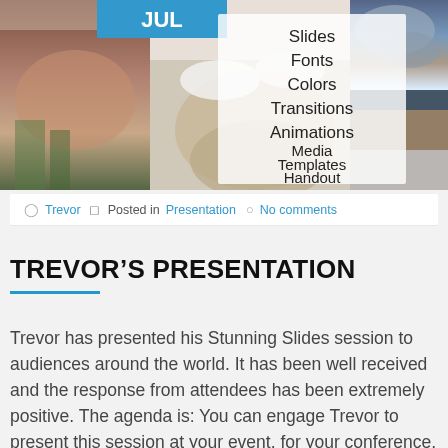[Figure (photo): Collage of three winter landscape photos with a white overlay panel in the center listing: Slides, Fonts, Colors, Transitions, Animations, Media, Templates, Handout. A blue rectangle in the top-left shows 'JUL'.]
Trevor  Posted in  Presentation   No comments
TREVOR'S PRESENTATION
Trevor has presented his Stunning Slides session to audiences around the world. It has been well received and the response from attendees has been extremely positive. The agenda is: You can engage Trevor to present this session at your event, for your conference, or for your company. Connect